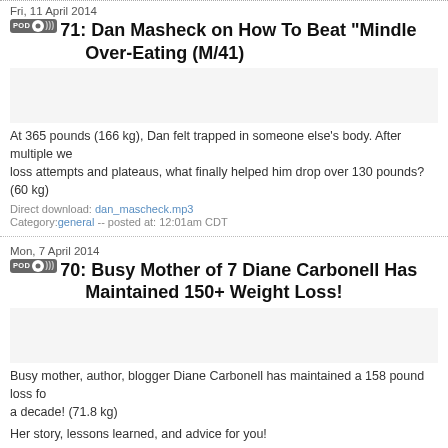Fri, 11 April 2014
71: Dan Masheck on How To Beat "Mindle... Over-Eating (M/41)
At 365 pounds (166 kg), Dan felt trapped in someone else's body. After multiple we... loss attempts and plateaus, what finally helped him drop over 130 pounds? (60 kg)...
Direct download: dan_mascheck.mp3
Category:general -- posted at: 12:01am CDT
Mon, 7 April 2014
70: Busy Mother of 7 Diane Carbonell Has... Maintained 150+ Weight Loss!
Busy mother, author, blogger Diane Carbonell has maintained a 158 pound loss fo... a decade! (71.8 kg)
Her story, lessons learned, and advice for you!
Direct download: diane_carbonell.mp3